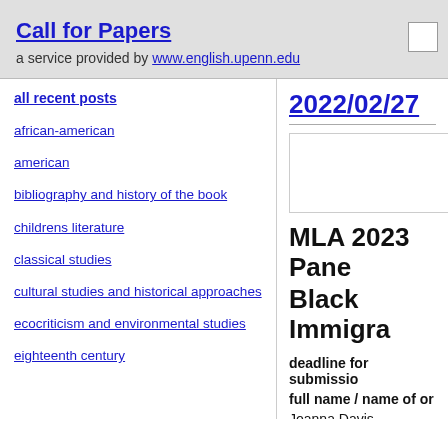Call for Papers — a service provided by www.english.upenn.edu
all recent posts
african-american
american
bibliography and history of the book
childrens literature
classical studies
cultural studies and historical approaches
ecocriticism and environmental studies
eighteenth century
2022/02/27
MLA 2023 Pane
Black Immigra
deadline for submissio
full name / name of or
Joanna Davis McElligott